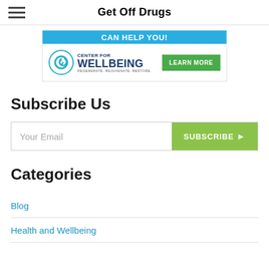Get Off Drugs
[Figure (infographic): Advertisement banner for Center for Wellbeing with teal background top section showing partial text 'CAN HELP YOU', white bottom section with Center for Wellbeing logo and teal spiral icon, and green LEARN MORE button. Tagline: REGENERATE. REJUVENATE. RESTORE.]
Subscribe Us
Your Email | SUBSCRIBE >
Categories
Blog
Health and Wellbeing